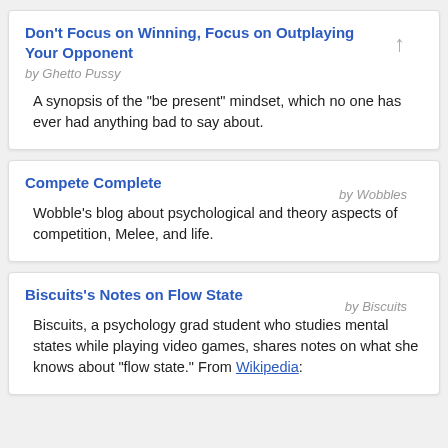Don't Focus on Winning, Focus on Outplaying Your Opponent
by Ghetto Pussy
A synopsis of the “be present” mindset, which no one has ever had anything bad to say about.
Compete Complete
by Wobbles
Wobble’s blog about psychological and theory aspects of competition, Melee, and life.
Biscuits’s Notes on Flow State
by Biscuits
Biscuits, a psychology grad student who studies mental states while playing video games, shares notes on what she knows about “flow state.” From Wikipedia: